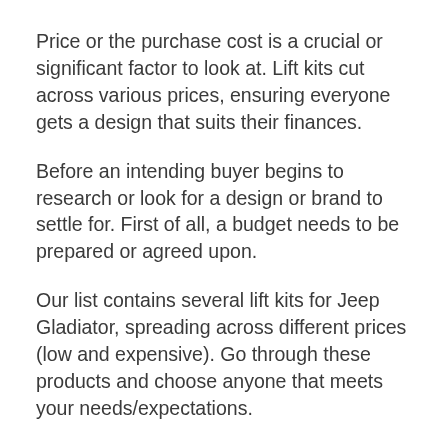Price or the purchase cost is a crucial or significant factor to look at. Lift kits cut across various prices, ensuring everyone gets a design that suits their finances.
Before an intending buyer begins to research or look for a design or brand to settle for. First of all, a budget needs to be prepared or agreed upon.
Our list contains several lift kits for Jeep Gladiator, spreading across different prices (low and expensive). Go through these products and choose anyone that meets your needs/expectations.
02. Build Material